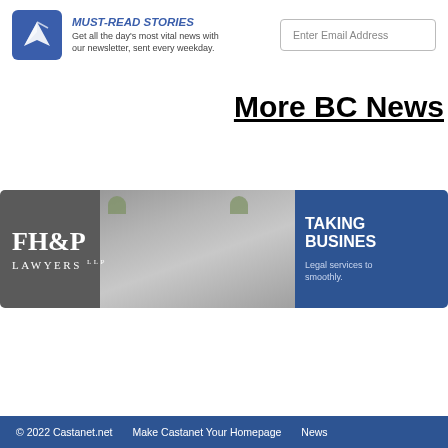MUST-READ STORIES — Get all the day's most vital news with our newsletter, sent every weekday. | Enter Email Address
More BC News
[Figure (infographic): FH&P Lawyers LLP advertisement banner with man smiling in background, blue right panel reading TAKING BUSINESS smoothly - Legal services to smoothly.]
© 2022 Castanet.net    Make Castanet Your Homepage    News